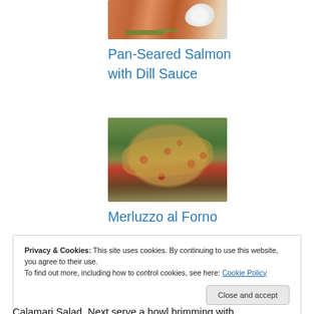[Figure (photo): Photo of pan-seared salmon with white cream/dill sauce on top, with green herbs, cropped at top]
Pan-Seared Salmon with Dill Sauce
[Figure (photo): Photo of Merluzzo al Forno (baked fish) garnished with red cherry tomatoes and green arugula on a platter]
Merluzzo al Forno
Privacy & Cookies: This site uses cookies. By continuing to use this website, you agree to their use.
To find out more, including how to control cookies, see here: Cookie Policy
Close and accept
Calamari Salad. Next serve a bowl brimming with